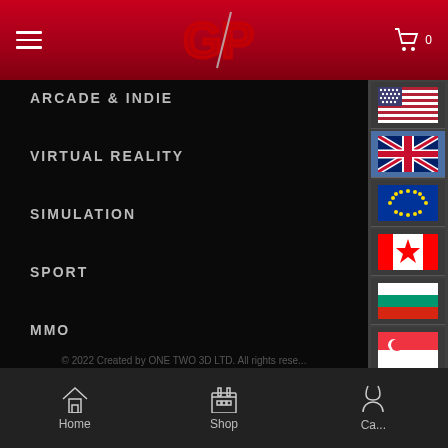GP Gaming Store header with logo, hamburger menu, and cart icon
ARCADE & INDIE
VIRTUAL REALITY
SIMULATION
SPORT
MMO
[Figure (screenshot): Country flag selector panel on right side showing: USA, UK (highlighted), EU, Canada, Bulgaria, Singapore, Serbia flags]
© 2022 Created by ONE TWO 3D LTD. All rights rese...
[Figure (logo): VISA payment badge and PCI DSS certification badge]
Home | Shop | Ca...